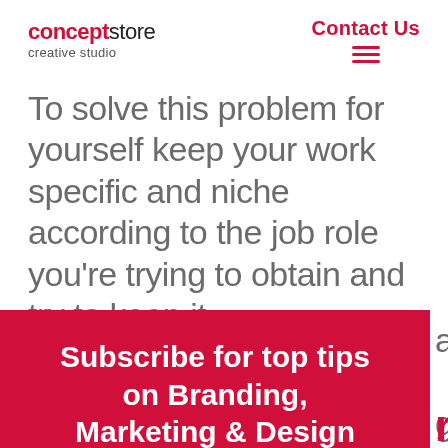conceptstore creative studio | Contact Us
To solve this problem for yourself keep your work specific and niche according to the job role you're trying to obtain and try to keep it as ... gain a ... persede
[Figure (screenshot): Red popup overlay for newsletter subscription with title 'Subscribe for top tips on Branding, Marketing & Design' and a Name input field]
Subscribe for top tips on Branding, Marketing & Design
Name: